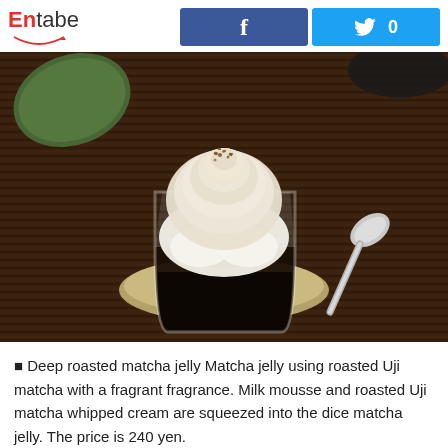Entabe
[Figure (photo): A glass cup filled with dark matcha jelly topped with white milk mousse and swirled roasted matcha whipped cream, sprinkled with cocoa and chopped nuts, sitting on a crocheted coaster on a brown woven mat, with a silver spoon beside it and a green leaf in the background.]
■ Deep roasted matcha jelly Matcha jelly using roasted Uji matcha with a fragrant fragrance. Milk mousse and roasted Uji matcha whipped cream are squeezed into the dice matcha jelly. The price is 240 yen.